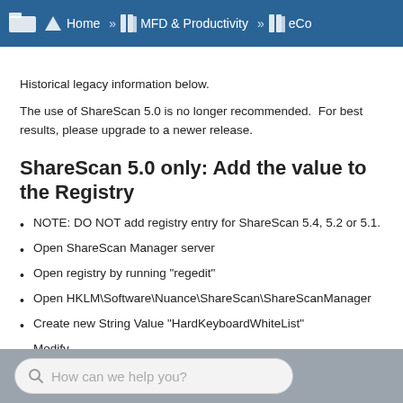Home » MFD & Productivity » eCo
Historical legacy information below.
The use of ShareScan 5.0 is no longer recommended.  For best results, please upgrade to a newer release.
ShareScan 5.0 only: Add the value to the Registry
NOTE: DO NOT add registry entry for ShareScan 5.4, 5.2 or 5.1.
Open ShareScan Manager server
Open registry by running "regedit"
Open HKLM\Software\Nuance\ShareScan\ShareScanManager
Create new String Value "HardKeyboardWhiteList"
Modify
How can we help you?